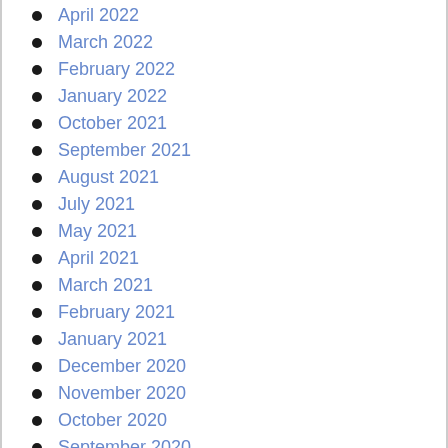April 2022
March 2022
February 2022
January 2022
October 2021
September 2021
August 2021
July 2021
May 2021
April 2021
March 2021
February 2021
January 2021
December 2020
November 2020
October 2020
September 2020
August 2020
July 2020